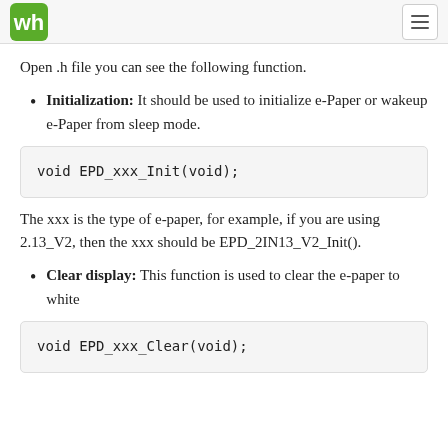Waveshare logo and navigation menu
Open .h file you can see the following function.
Initialization: It should be used to initialize e-Paper or wakeup e-Paper from sleep mode.
The xxx is the type of e-paper, for example, if you are using 2.13_V2, then the xxx should be EPD_2IN13_V2_Init().
Clear display: This function is used to clear the e-paper to white